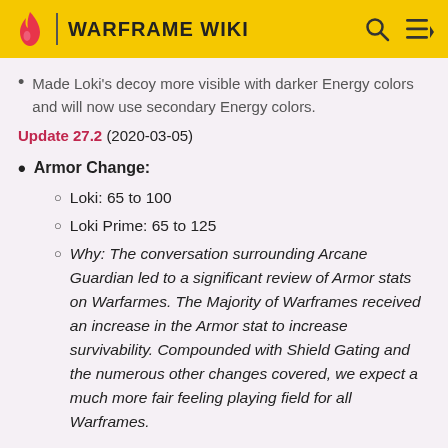WARFRAME WIKI
Made Loki's decoy more visible with darker Energy colors and will now use secondary Energy colors.
Update 27.2 (2020-03-05)
Armor Change:
Loki: 65 to 100
Loki Prime: 65 to 125
Why: The conversation surrounding Arcane Guardian led to a significant review of Armor stats on Warfarmes. The Majority of Warframes received an increase in the Armor stat to increase survivability. Compounded with Shield Gating and the numerous other changes covered, we expect a much more fair feeling playing field for all Warframes.